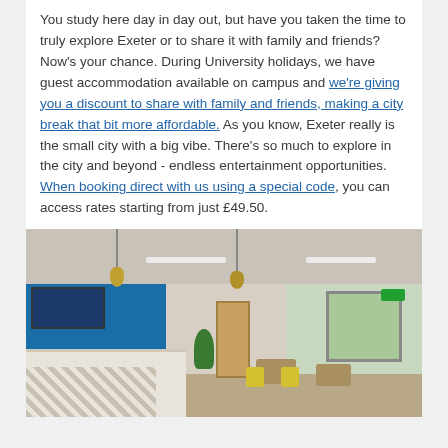You study here day in day out, but have you taken the time to truly explore Exeter or to share it with family and friends? Now's your chance. During University holidays, we have guest accommodation available on campus and we're giving you a discount to share with family and friends, making a city break that bit more affordable. As you know, Exeter really is the small city with a big vibe. There's so much to explore in the city and beyond - endless entertainment opportunities. When booking direct with us using a special code, you can access rates starting from just £49.50.
[Figure (photo): Interior photo of a university campus cafe/dining area with blue accent walls, pendant lights, a service counter with geometric pattern, tables and yellow chairs, a plant, and large windows letting in natural light.]